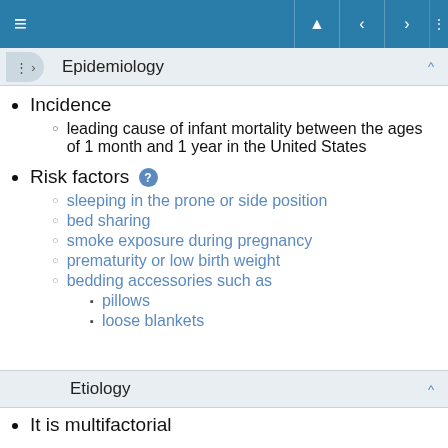Epidemiology
Incidence
leading cause of infant mortality between the ages of 1 month and 1 year in the United States
Risk factors
sleeping in the prone or side position
bed sharing
smoke exposure during pregnancy
prematurity or low birth weight
bedding accessories such as
pillows
loose blankets
Etiology
It is multifactorial